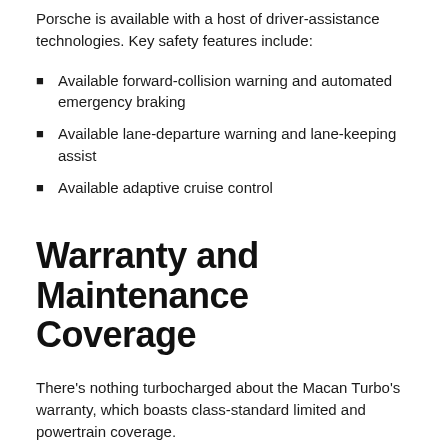Porsche is available with a host of driver-assistance technologies. Key safety features include:
Available forward-collision warning and automated emergency braking
Available lane-departure warning and lane-keeping assist
Available adaptive cruise control
Warranty and Maintenance Coverage
There's nothing turbocharged about the Macan Turbo's warranty, which boasts class-standard limited and powertrain coverage.
Limited warranty covers four years or 50,000 miles
Powertrain warranty covers four years or 50,000 miles